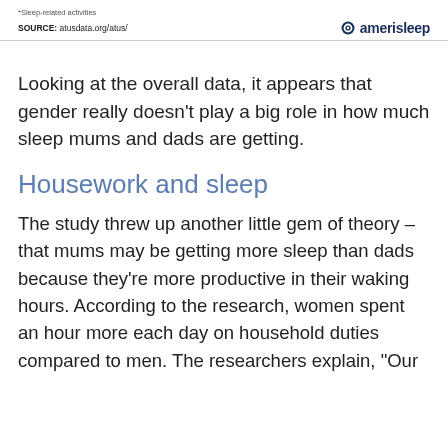*Sleep-related activities
SOURCE: atusdata.org/atus/
Looking at the overall data, it appears that gender really doesn’t play a big role in how much sleep mums and dads are getting.
Housework and sleep
The study threw up another little gem of theory – that mums may be getting more sleep than dads because they’re more productive in their waking hours. According to the research, women spent an hour more each day on household duties compared to men. The researchers explain, “Our